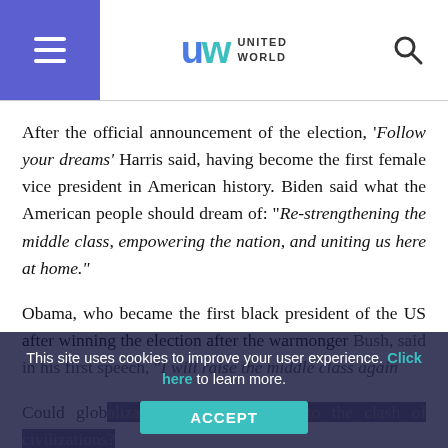United World — site header with hamburger menu and search icon
After the official announcement of the election, 'Follow your dreams' Harris said, having become the first female vice president in American history. Biden said what the American people should dream of: "Re-strengthening the middle class, empowering the nation, and uniting us here at home."
Obama, who became the first black president of the US after winning the election after the warmonger Bush, said in his first speech, "I will raise the middle class again."
Could globalization be the antidote to the clash of civilizations?
This middle-class dream is, indeed, essentially a summary of the American Dream. In a murderous
This site uses cookies to improve your user experience. Click here to learn more. ACCEPT